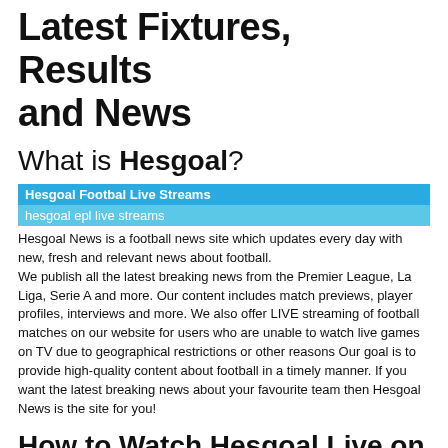Latest Fixtures, Results and News
What is Hesgoal?
Hesgoal Footbal Live Streams
hesgoal epl live streams
Hesgoal News is a football news site which updates every day with new, fresh and relevant news about football.
We publish all the latest breaking news from the Premier League, La Liga, Serie A and more. Our content includes match previews, player profiles, interviews and more. We also offer LIVE streaming of football matches on our website for users who are unable to watch live games on TV due to geographical restrictions or other reasons Our goal is to provide high-quality content about football in a timely manner. If you want the latest breaking news about your favourite team then Hesgoal News is the site for you!
How to Watch Hesgoal Live on a Mobile Device
Hesgoal is the best stream ever! Hesgoal provide you with the best EPL football Games. Watch your favorite team in action